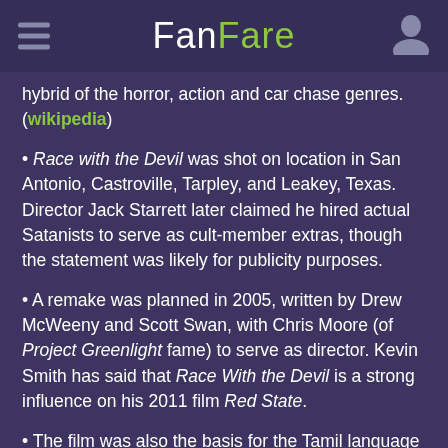FanFare
hybrid of the horror, action and car chase genres. (wikipedia)
Race with the Devil was shot on location in San Antonio, Castroville, Tarpley, and Leakey, Texas. Director Jack Starrett later claimed he hired actual Satanists to serve as cult-member extras, though the statement was likely for publicity purposes.
A remake was planned in 2005, written by Drew McWeeny and Scott Swan, with Chris Moore (of Project Greenlight fame) to serve as director. Kevin Smith has said that Race With the Devil is a strong influence on his 2011 film Red State.
The film was also the basis for the Tamil language film